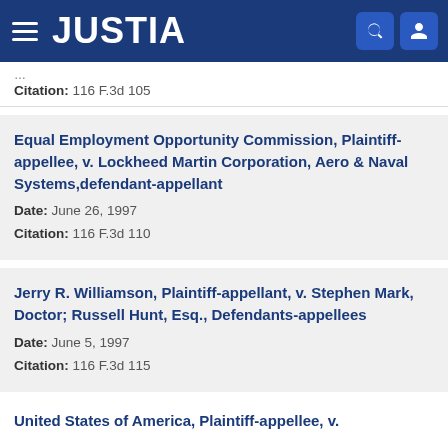JUSTIA
Citation: 116 F.3d 105
Equal Employment Opportunity Commission, Plaintiff-appellee, v. Lockheed Martin Corporation, Aero & Naval Systems,defendant-appellant
Date: June 26, 1997
Citation: 116 F.3d 110
Jerry R. Williamson, Plaintiff-appellant, v. Stephen Mark, Doctor; Russell Hunt, Esq., Defendants-appellees
Date: June 5, 1997
Citation: 116 F.3d 115
United States of America, Plaintiff-appellee, v.